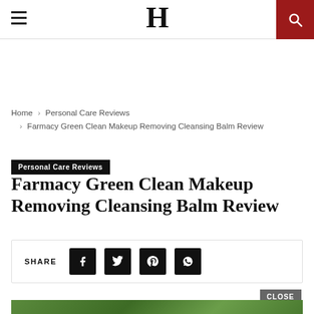H
Home › Personal Care Reviews › Farmacy Green Clean Makeup Removing Cleansing Balm Review
Personal Care Reviews
Farmacy Green Clean Makeup Removing Cleansing Balm Review
SHARE
[Figure (photo): Product image of Farmacy Green Clean Makeup Removing Cleansing Balm against a green leafy background]